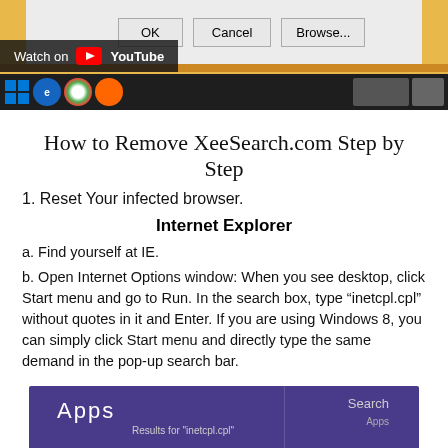[Figure (screenshot): Screenshot of a Windows dialog with OK, Cancel, Browse... buttons, YouTube overlay with 'Watch on YouTube', and Windows taskbar with browser icons]
How to Remove XeeSearch.com Step by Step
1. Reset Your infected browser.
Internet Explorer
a. Find yourself at IE.
b. Open Internet Options window: When you see desktop, click Start menu and go to Run. In the search box, type “inetcpl.cpl” without quotes in it and Enter. If you are using Windows 8, you can simply click Start menu and directly type the same demand in the pop-up search bar.
[Figure (screenshot): Windows 8 Start screen search results showing Apps panel with 'Results for inetcpl.cpl' and a Search panel on the right side]